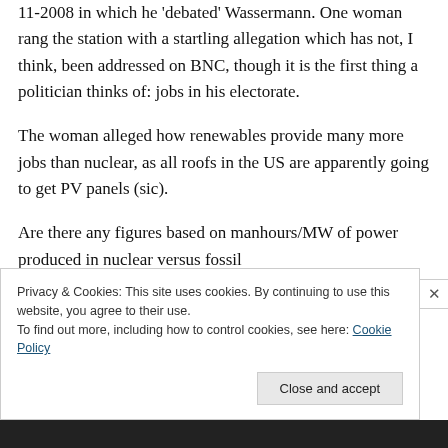11-2008 in which he 'debated' Wassermann. One woman rang the station with a startling allegation which has not, I think, been addressed on BNC, though it is the first thing a politician thinks of: jobs in his electorate.
The woman alleged how renewables provide many more jobs than nuclear, as all roofs in the US are apparently going to get PV panels (sic).
Are there any figures based on manhours/MW of power produced in nuclear versus fossil
Privacy & Cookies: This site uses cookies. By continuing to use this website, you agree to their use.
To find out more, including how to control cookies, see here: Cookie Policy